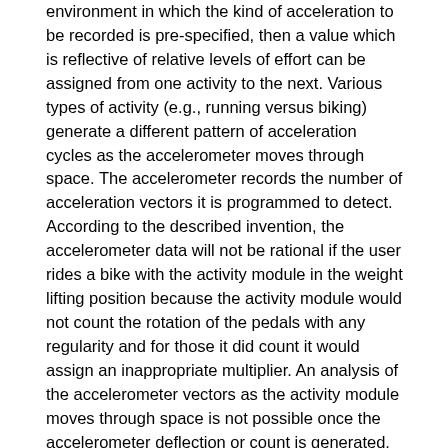environment in which the kind of acceleration to be recorded is pre-specified, then a value which is reflective of relative levels of effort can be assigned from one activity to the next. Various types of activity (e.g., running versus biking) generate a different pattern of acceleration cycles as the accelerometer moves through space. The accelerometer records the number of acceleration vectors it is programmed to detect. According to the described invention, the accelerometer data will not be rational if the user rides a bike with the activity module in the weight lifting position because the activity module would not count the rotation of the pedals with any regularity and for those it did count it would assign an inappropriate multiplier. An analysis of the accelerometer vectors as the activity module moves through space is not possible once the accelerometer deflection or count is generated. Thus, variance in accelerometer deflections or counts cannot distinguish the type of activity performed after it has occurred. In addition, the computational power needed to analyze the pattern of vector changes as they occurred would far outstrip the capacity of a device such as a mobile phone. Therefore, the described invention instead takes the approach that by pre-specifying movements, the